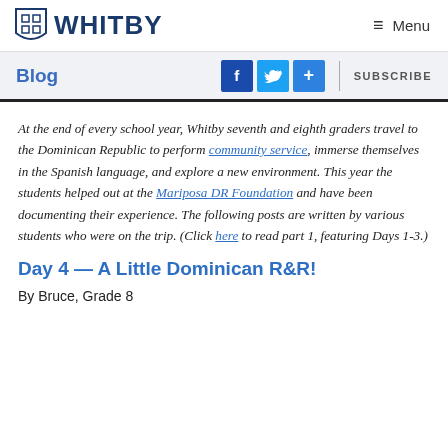WHITBY | Menu
Blog | f | y | + | SUBSCRIBE
At the end of every school year, Whitby seventh and eighth graders travel to the Dominican Republic to perform community service, immerse themselves in the Spanish language, and explore a new environment. This year the students helped out at the Mariposa DR Foundation and have been documenting their experience. The following posts are written by various students who were on the trip. (Click here to read part 1, featuring Days 1-3.)
Day 4 — A Little Dominican R&R!
By Bruce, Grade 8